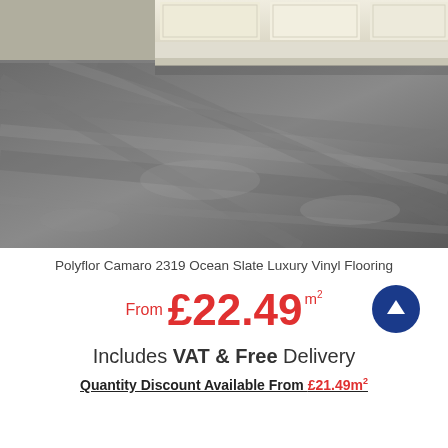[Figure (photo): Photo of Polyflor Camaro 2319 Ocean Slate luxury vinyl flooring installed in a kitchen, showing grey/slate textured floor tiles beneath white kitchen cabinetry]
Polyflor Camaro 2319 Ocean Slate Luxury Vinyl Flooring
From £22.49 m²
Includes VAT & Free Delivery
Quantity Discount Available From £21.49m²